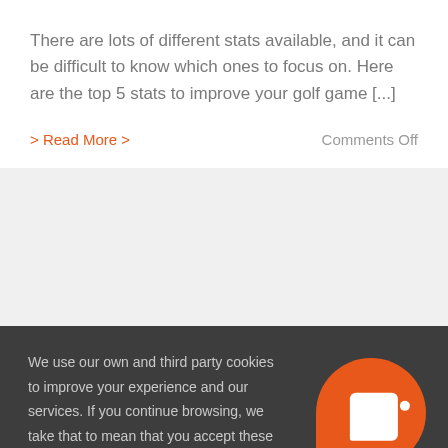There are lots of different stats available, and it can be difficult to know which ones to focus on. Here are the top 5 stats to improve your golf game [...]
> Read More >
Comments Off
[Figure (other): Light gray rectangular banner/advertisement area]
We use our own and third party cookies to improve your experience and our services. If you continue browsing, we take that to mean that you accept these cookies and their use.